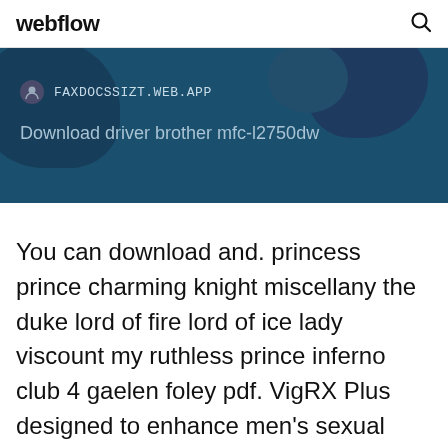webflow
[Figure (screenshot): Dark blue banner with world map background showing FAXDOCSSIZT.WEB.APP URL and title 'Download driver brother mfc-l2750dw']
You can download and. princess prince charming knight miscellany the duke lord of fire lord of ice lady viscount my ruthless prince inferno club 4 gaelen foley pdf. VigRX Plus designed to enhance men's sexual functioning. VigRX Plus is for men who want bigger,